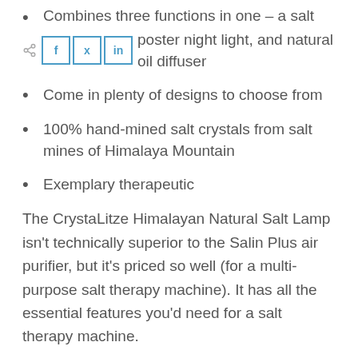Combines three functions in one – a salt lamp, mood booster night light, and natural oil diffuser
Come in plenty of designs to choose from
100% hand-mined salt crystals from salt mines of Himalaya Mountain
Exemplary therapeutic
The CrystaLitze Himalayan Natural Salt Lamp isn't technically superior to the Salin Plus air purifier, but it's priced so well (for a multi-purpose salt therapy machine). It has all the essential features you'd need for a salt therapy machine.